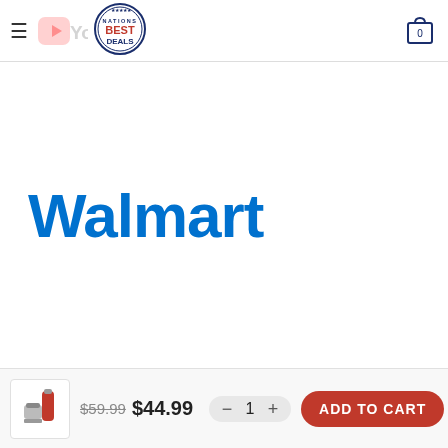Nations Best Deals — YouTube — Cart (0)
[Figure (logo): Walmart brand name in large blue bold text]
[Figure (photo): Small product thumbnail showing red thermos and silver container]
$59.99  $44.99   - 1 +   ADD TO CART